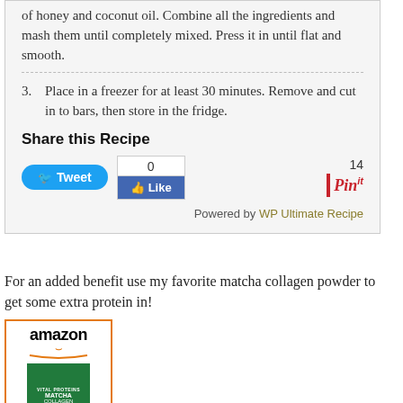of honey and coconut oil. Combine all the ingredients and mash them until completely mixed. Press it in until flat and smooth.
3. Place in a freezer for at least 30 minutes. Remove and cut in to bars, then store in the fridge.
Share this Recipe
[Figure (screenshot): Social sharing buttons: Tweet button (Twitter), Facebook Like widget showing count 0, Pinterest Pin button showing count 14]
Powered by WP Ultimate Recipe
For an added benefit use my favorite matcha collagen powder to get some extra protein in!
[Figure (photo): Amazon product listing image showing a green container of Vital Proteins Matcha Collagen powder]